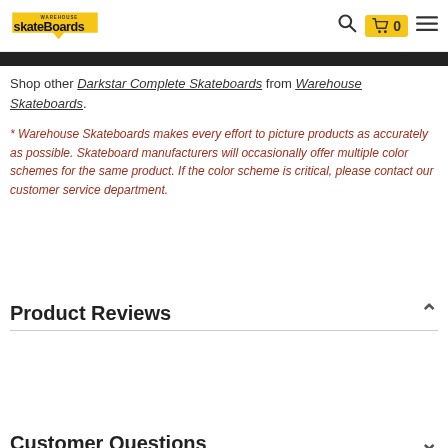Warehouse Skateboards — Search, Cart (0), Menu
Shop other Darkstar Complete Skateboards from Warehouse Skateboards.
* Warehouse Skateboards makes every effort to picture products as accurately as possible. Skateboard manufacturers will occasionally offer multiple color schemes for the same product. If the color scheme is critical, please contact our customer service department.
Product Reviews
Customer Questions